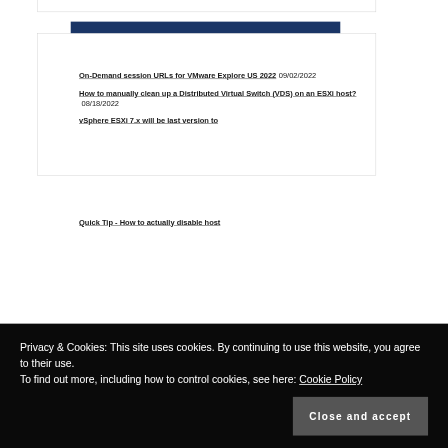Recent
On-Demand session URLs for VMware Explore US 2022 09/02/2022
How to manually clean up a Distributed Virtual Switch (VDS) on an ESXi host? 08/18/2022
vSphere ESXi 7.x will be last version to
Quick Tip - How to actually disable host
Privacy & Cookies: This site uses cookies. By continuing to use this website, you agree to their use.
To find out more, including how to control cookies, see here: Cookie Policy
Close and accept